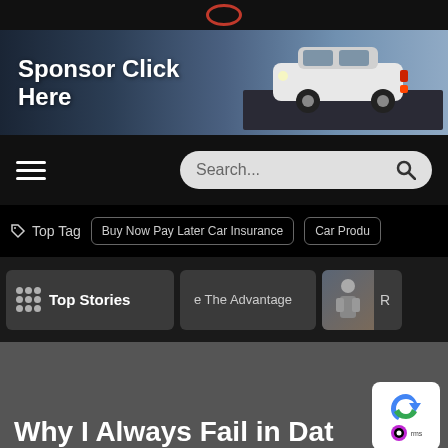[Figure (screenshot): Top dark navigation bar with partial circular logo]
[Figure (photo): Sponsor banner ad with text 'Sponsor Click Here' and white SUV car driving on road]
[Figure (screenshot): Navigation bar with hamburger menu icon on left and search box on right showing 'Search...' placeholder with magnifying glass icon]
Top Tag  Buy Now Pay Later Car Insurance  Car Produ
Top Stories  e The Advantage  R
Why I Always Fail in Dat